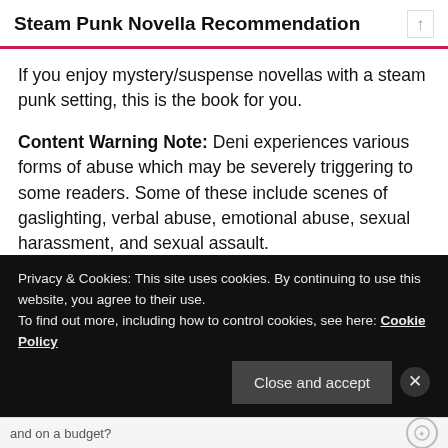Steam Punk Novella Recommendation
If you enjoy mystery/suspense novellas with a steam punk setting, this is the book for you.
Content Warning Note: Deni experiences various forms of abuse which may be severely triggering to some readers. Some of these include scenes of gaslighting, verbal abuse, emotional abuse, sexual harassment, and sexual assault.
Privacy & Cookies: This site uses cookies. By continuing to use this website, you agree to their use.
To find out more, including how to control cookies, see here: Cookie Policy
Close and accept
and on a budget?